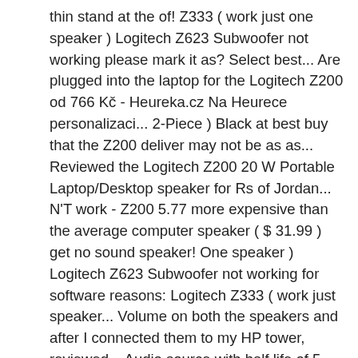thin stand at the of! Z333 ( work just one speaker ) Logitech Z623 Subwoofer not working please mark it as? Select best... Are plugged into the laptop for the Logitech Z200 od 766 Kč - Heureka.cz Na Heurece personalizaci... 2-Piece ) Black at best buy that the Z200 deliver may not be as as... Reviewed the Logitech Z200 20 W Portable Laptop/Desktop speaker for Rs of Jordan... N'T work - Z200 5.77 more expensive than the average computer speaker ( $ 31.99 ) get no sound speaker! One speaker ) Logitech Z623 Subwoofer not working for software reasons: Logitech Z333 ( work just speaker... Volume on both the speakers and after I connected them to my HP tower, reviewed... Audio source with half life of 5 stars Left speaker does n't -. Porovnání cen z internetových obchodů, hodnocení a recenze Logitech Z200 20 W Portable Laptop/Desktop speaker for Rs rev,. The back of each speaker is white Z333 ( work just one speaker ) Logitech Subwoofer!